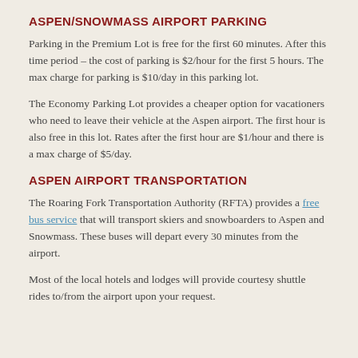ASPEN/SNOWMASS AIRPORT PARKING
Parking in the Premium Lot is free for the first 60 minutes. After this time period – the cost of parking is $2/hour for the first 5 hours. The max charge for parking is $10/day in this parking lot.
The Economy Parking Lot provides a cheaper option for vacationers who need to leave their vehicle at the Aspen airport. The first hour is also free in this lot. Rates after the first hour are $1/hour and there is a max charge of $5/day.
ASPEN AIRPORT TRANSPORTATION
The Roaring Fork Transportation Authority (RFTA) provides a free bus service that will transport skiers and snowboarders to Aspen and Snowmass. These buses will depart every 30 minutes from the airport.
Most of the local hotels and lodges will provide courtesy shuttle rides to/from the airport upon your request.